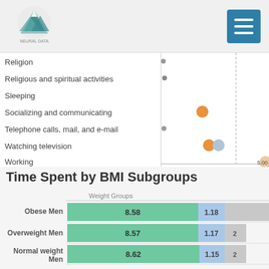Logo and menu header
[Figure (scatter-plot): Dot plot showing activity categories on y-axis and time values on x-axis. Partially visible chart with dots for Religion, Religious and spiritual activities, Sleeping, Socializing and communicating, Telephone calls mail and e-mail, Watching television, Working.]
Time Spent by BMI Subgroups
[Figure (stacked-bar-chart): Time Spent by BMI Subgroups]